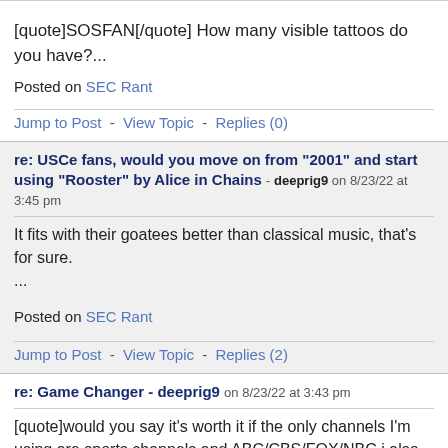[quote]SOSFAN[/quote] How many visible tattoos do you have?...
Posted on SEC Rant
Jump to Post - View Topic - Replies (0)
re: USCe fans, would you move on from "2001" and start using "Rooster" by Alice in Chains - deeprig9 on 8/23/22 at 3:45 pm
It fits with their goatees better than classical music, that's for sure. ...
Posted on SEC Rant
Jump to Post - View Topic - Replies (2)
re: Game Changer - deeprig9 on 8/23/22 at 3:43 pm
[quote]would you say it's worth it if the only channels I'm using are sports channels and ABC/CBS/FOX/NBC i also hear live events are like 45 seconds behind, just like free streams online[/quote] Pretty sure you can do 30 days free and see if it works for you. Do it